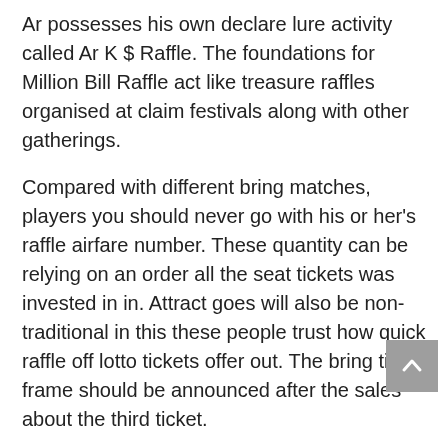Ar possesses his own declare lure activity called Ar K $ Raffle. The foundations for Million Bill Raffle act like treasure raffles organised at claim festivals along with other gatherings.
Compared with different bring matches, players you should never go with his or her's raffle airfare number. These quantity can be relying on an order all the seat tickets was invested in in. Attract goes will also be non-traditional in this these people trust how quick raffle off lotto tickets offer out. The bring time frame should be announced after the sales about the third ticket.
Any North dakota Huge number of Bucks Raffle off